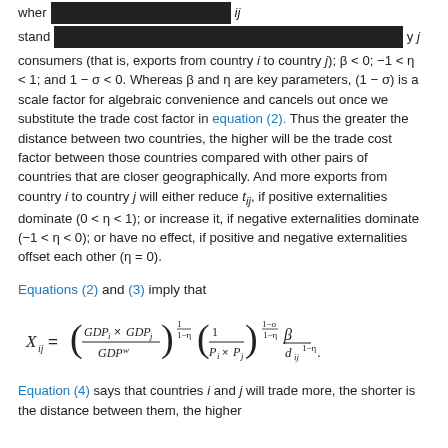consumers (that is, exports from country i to country j); β < 0; −1 < η < 1; and 1 − σ < 0. Whereas β and η are key parameters, (1 − σ) is a scale factor for algebraic convenience and cancels out once we substitute the trade cost factor in equation (2). Thus the greater the distance between two countries, the higher will be the trade cost factor between those countries compared with other pairs of countries that are closer geographically. And more exports from country i to country j will either reduce t_ij, if positive externalities dominate (0 < η < 1); or increase it, if negative externalities dominate (−1 < η < 0); or have no effect, if positive and negative externalities offset each other (η = 0).
Equations (2) and (3) imply that
Equation (4) says that countries i and j will trade more, the shorter is the distance between them, the higher